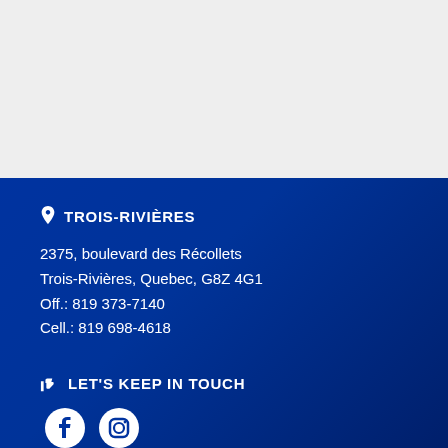[Figure (other): Light grey background top section]
TROIS-RIVIÈRES
2375, boulevard des Récollets
Trois-Rivières, Quebec, G8Z 4G1
Off.: 819 373-7140
Cell.: 819 698-4618
LET'S KEEP IN TOUCH
[Figure (illustration): Facebook and Instagram social media icons]